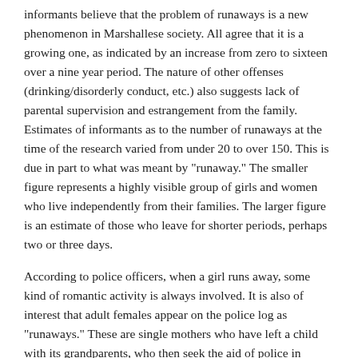informants believe that the problem of runaways is a new phenomenon in Marshallese society. All agree that it is a growing one, as indicated by an increase from zero to sixteen over a nine year period. The nature of other offenses (drinking/disorderly conduct, etc.) also suggests lack of parental supervision and estrangement from the family. Estimates of informants as to the number of runaways at the time of the research varied from under 20 to over 150. This is due in part to what was meant by "runaway." The smaller figure represents a highly visible group of girls and women who live independently from their families. The larger figure is an estimate of those who leave for shorter periods, perhaps two or three days.
According to police officers, when a girl runs away, some kind of romantic activity is always involved. It is also of interest that adult females appear on the police log as "runaways." These are single mothers who have left a child with its grandparents, who then seek the aid of police in requiring the mother to return and look after the child.
The Runaways